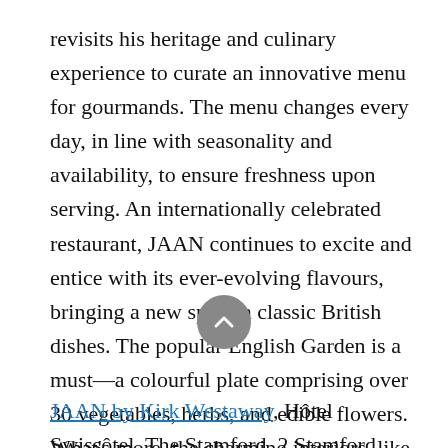revisits his heritage and culinary experience to curate an innovative menu for gourmands. The menu changes every day, in line with seasonality and availability, to ensure freshness upon serving. An internationally celebrated restaurant, JAAN continues to excite and entice with its ever-evolving flavours, bringing a new spin on classic British dishes. The popular English Garden is a must—a colourful plate comprising over 30 vegetables, herbs, and edible flowers. What's more, the charming interiors, like the show-stopping chandelier, make this venue an ideal date spot, ready to impress, or makes a fun evening out with pals.
JAAN by Kirk Westaway, Hôtel Swissôtel, The Stamford, 2 Stamford Road, Singapore 178882 | (+65)